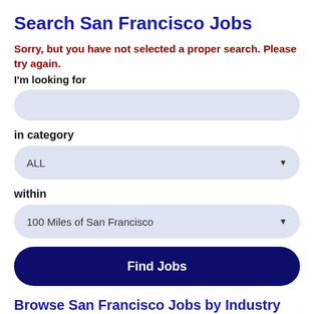Search San Francisco Jobs
Sorry, but you have not selected a proper search. Please try again.
I'm looking for
in category
ALL
within
100 Miles of San Francisco
Find Jobs
Browse San Francisco Jobs by Industry
San Francisco Accounting Jobs   (207 jobs)